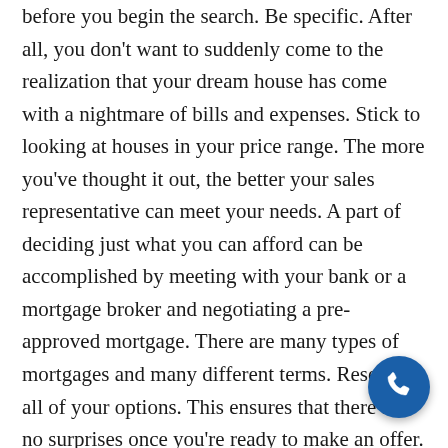before you begin the search. Be specific. After all, you don't want to suddenly come to the realization that your dream house has come with a nightmare of bills and expenses. Stick to looking at houses in your price range. The more you've thought it out, the better your sales representative can meet your needs. A part of deciding just what you can afford can be accomplished by meeting with your bank or a mortgage broker and negotiating a pre-approved mortgage. There are many types of mortgages and many different terms. Research all of your options. This ensures that there are no surprises once you're ready to make an offer. Once you've figured out your monthly expenses and what you can afford, you can start your search. It could happen that the first home you see is the one you want; or you might look at home after home with none of them catching your interest. Rest assured, the home you're looking for is out there, and when you find it, you're ready to make an